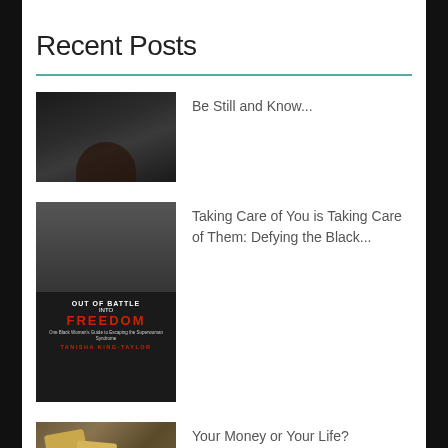Recent Posts
[Figure (photo): Black and white photo of a person with hands clasped in prayer pose, dark background]
Be Still and Know...
[Figure (photo): Book cover: Out of Battle Into Freedom by Tanisha King-Taylor, showing a woman's face and book title in red letters]
Taking Care of You is Taking Care of Them: Defying the Black...
[Figure (photo): Photo of wooden letter tiles or scrabble pieces on dark background]
Your Money or Your Life?